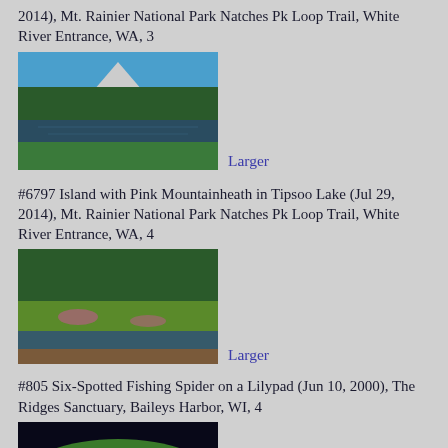2014), Mt. Rainier National Park Natches Pk Loop Trail, White River Entrance, WA, 3
[Figure (photo): Landscape photo of a reflective lake with green vegetation, evergreen trees, and a mountain (Mt. Rainier) in the background under blue sky]
Larger
#6797 Island with Pink Mountainheath in Tipsoo Lake (Jul 29, 2014), Mt. Rainier National Park Natches Pk Loop Trail, White River Entrance, WA, 4
[Figure (photo): Landscape photo of Tipsoo Lake showing an island with pink mountainheath, surrounded by evergreen trees and green meadow]
Larger
#805 Six-Spotted Fishing Spider on a Lilypad (Jun 10, 2000), The Ridges Sanctuary, Baileys Harbor, WI, 4
[Figure (photo): Close-up photo of a Six-Spotted Fishing Spider on a green lilypad, dark background]